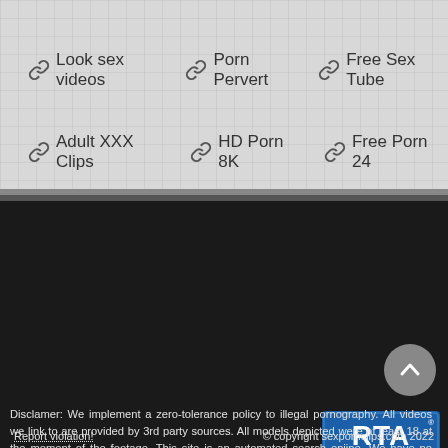🔗 Look sex videos   🔗 Porn Pervert   🔗 Free Sex Tube
🔗 Adult XXX Clips   🔗 HD Porn 8K   🔗 Free Porn 24
Disclamer: We implement a zero-tolerance policy to illegal pornography. All videos we link to are provided by 3rd party sources. All models depicted were at least 18 at the moment of the footage. This site is an automated search enjine. We have no control over the content of these pages. We will remove links to copyrighted or illegal content within a few hours. To report a violation just click on the ▶ button near the video or use the link below. Thank you. Warning: Adult Content! If you find adult content offending or online porn is prohibited by your local law, please leave this site
[Figure (logo): RTA - Restricted To Adults badge/logo in blue and white]
Report violation!
© copyright sexpornclips.com 2022